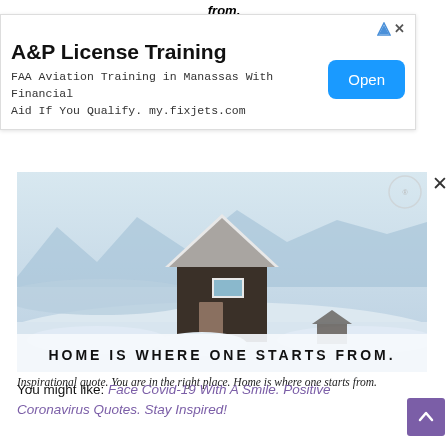from.
[Figure (screenshot): Advertisement banner for A&P License Training. FAA Aviation Training in Manassas With Financial Aid If You Qualify. my.fixjets.com. With an Open button.]
[Figure (photo): Photo of a dark wooden cabin surrounded by snow with mountains and frozen water in the background. Text overlay at bottom reads: HOME IS WHERE ONE STARTS FROM.]
Inspirational quote. You are in the right place. Home is where one starts from.
You might like: Face Covid-19 With A Smile. Positive Coronavirus Quotes. Stay Inspired!